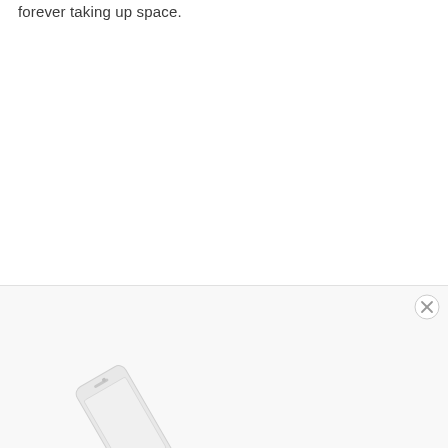forever taking up space.
[Figure (illustration): Partial view of an advertisement box at the bottom of the page showing a white smartphone (iPhone-style) tilted at an angle, partially cut off at the bottom edge, with a light gray/white background and a close (X) button in the upper right corner of the ad box.]